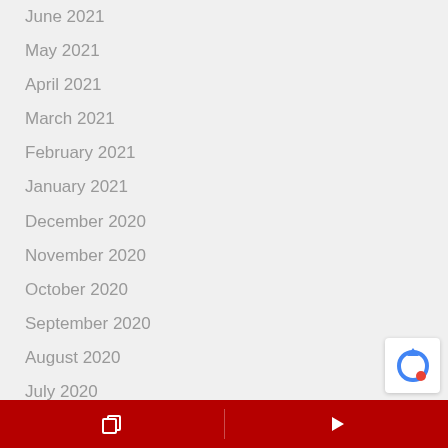June 2021
May 2021
April 2021
March 2021
February 2021
January 2021
December 2020
November 2020
October 2020
September 2020
August 2020
July 2020
June 2020
May 2020
April 2020
March 2020